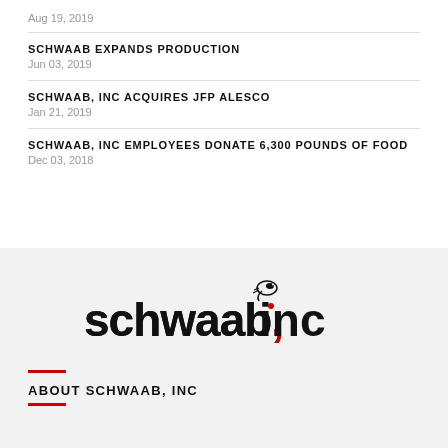Aug 19, 2019
SCHWAAB EXPANDS PRODUCTION
Jun 03, 2019
SCHWAAB, INC ACQUIRES JFP ALESCO
Jan 21, 2019
SCHWAAB, INC EMPLOYEES DONATE 6,300 POUNDS OF FOOD
Dec 03, 2018
[Figure (logo): Schwaab, Inc logo — lowercase 'schwaab,' with red dot on comma, 'inc' with a snail/bird figure above the 'i']
ABOUT SCHWAAB, INC